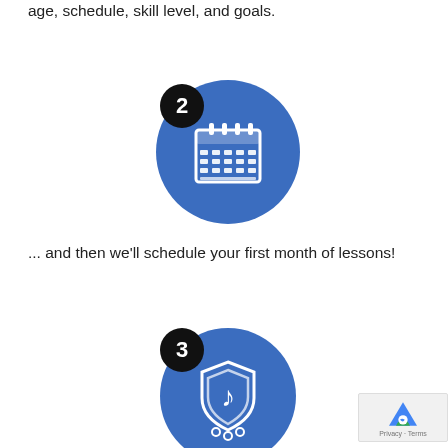age, schedule, skill level, and goals.
[Figure (illustration): Step 2 icon: a blue circle with a white calendar icon and a black circle with number 2 in the upper left]
... and then we'll schedule your first month of lessons!
[Figure (illustration): Step 3 icon: a blue circle with a white shield and music note icon and a black circle with number 3 in the upper left]